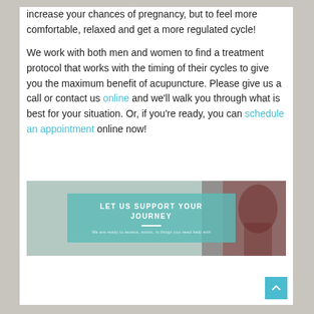increase your chances of pregnancy, but to feel more comfortable, relaxed and get a more regulated cycle!
We work with both men and women to find a treatment protocol that works with the timing of their cycles to give you the maximum benefit of acupuncture. Please give us a call or contact us online and we'll walk you through what is best for your situation. Or, if you're ready, you can schedule an appointment online now!
[Figure (photo): Banner image with a teal overlay box reading 'LET US SUPPORT YOUR JOURNEY' with a subtitle line, overlaid on a photo of a pregnant woman]